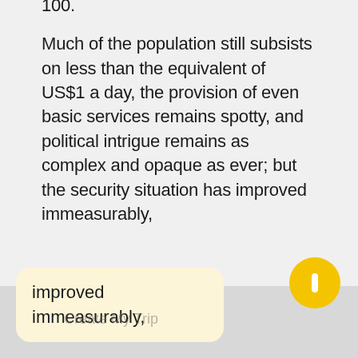Much of the population still subsists on less than the equivalent of US$1 a day, the provision of even basic services remains spotty, and political intrigue remains as complex and opaque as ever; but the security situation has improved immeasurably,